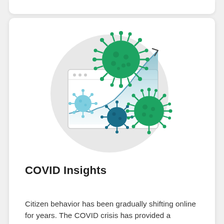[Figure (illustration): Illustration showing a browser/chart window with an upward trending area chart in blue, overlaid with green coronavirus particles of various sizes and a dark teal coronavirus particle, set inside a light gray circular background.]
COVID Insights
Citizen behavior has been gradually shifting online for years. The COVID crisis has provided a massive jolt.